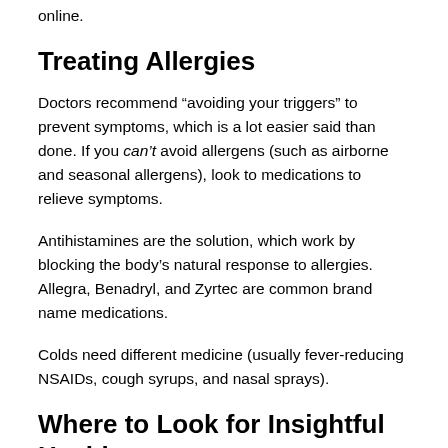the immune system to fight off invasions.
You can learn more about allergy centers and tests online.
Treating Allergies
Doctors recommend “avoiding your triggers” to prevent symptoms, which is a lot easier said than done. If you can’t avoid allergens (such as airborne and seasonal allergens), look to medications to relieve symptoms.
Antihistamines are the solution, which work by blocking the body’s natural response to allergies. Allegra, Benadryl, and Zyrtec are common brand name medications.
Colds need different medicine (usually fever-reducing NSAIDs, cough syrups, and nasal sprays).
Where to Look for Insightful Health